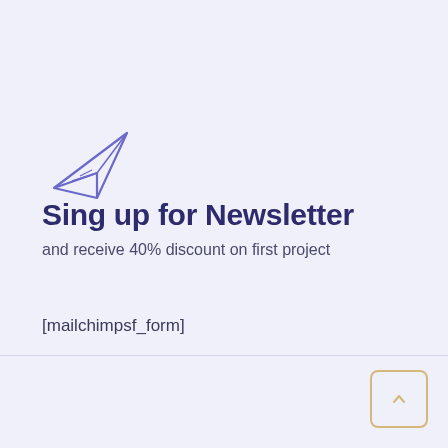[Figure (illustration): Paper airplane / send icon drawn in purple/indigo outline style]
Sing up for Newsletter
and receive 40% discount on first project
[mailchimpsf_form]